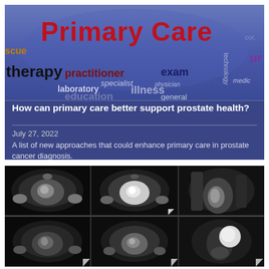[Figure (illustration): Word cloud image featuring medical/primary care terms: 'Primary Care' in large red text, plus 'therapy', 'practitioner', 'exam', 'laboratory', 'illness', 'education', 'general', 'specialist', 'physician', 'rescue', 'technology', 'medic', and others on a blue-purple gradient background]
How can primary care better support prostate health?
July 27, 2022
A list of new approaches that could enhance primary care in prostate cancer diagnosis.
[Figure (photo): Grid of 6 MRI scan images of the prostate in grayscale, arranged in 2 rows of 3 columns, showing axial and sagittal views. Some images have small arrow/triangle markers in the corners.]